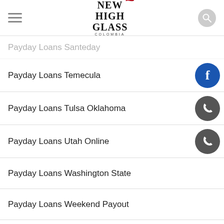New High Glass Colombia
Payday Loans Santeday
Payday Loans Temecula
Payday Loans Tulsa Oklahoma
Payday Loans Utah Online
Payday Loans Washington State
Payday Loans Weekend Payout
Payday Max
Payday One